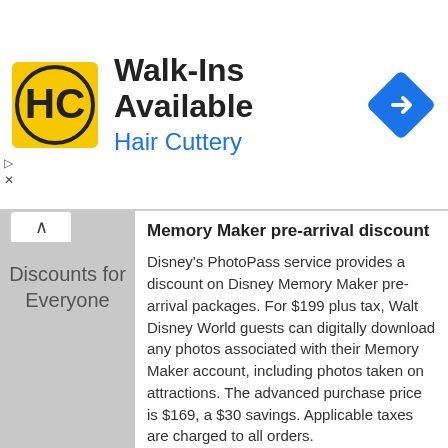[Figure (screenshot): Hair Cuttery advertisement banner with logo, 'Walk-Ins Available' heading, 'Hair Cuttery' subtitle in blue, navigation arrow icon, and small play/close icons.]
Discounts for Everyone
Memory Maker pre-arrival discount
Disney's PhotoPass service provides a discount on Disney Memory Maker pre-arrival packages. For $199 plus tax, Walt Disney World guests can digitally download any photos associated with their Memory Maker account, including photos taken on attractions. The advanced purchase price is $169, a $30 savings. Applicable taxes are charged to all orders.
Purchase must be made more than three days prior to arrival at the Walt Disney World Resort. All sales are final, and not eligible for an exchange or